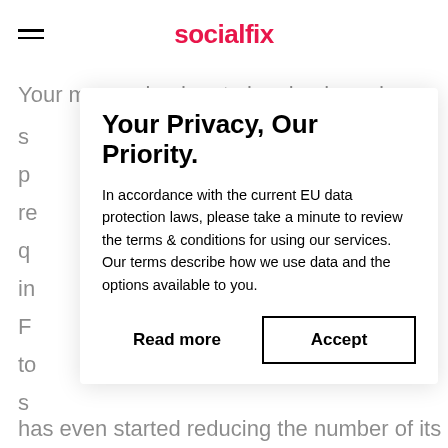socialfix
Your messaging has to be simple and your
s
p
re
q
in
F
to
s
has even started reducing the number of its
Your Privacy, Our Priority.
In accordance with the current EU data protection laws, please take a minute to review the terms & conditions for using our services. Our terms describe how we use data and the options available to you.
Read more
Accept